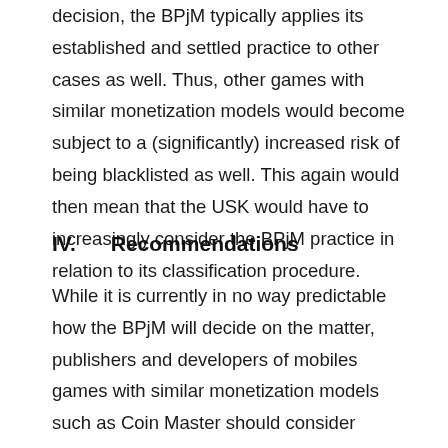decision, the BPjM typically applies its established and settled practice to other cases as well. Thus, other games with similar monetization models would become subject to a (significantly) increased risk of being blacklisted as well. This again would then mean that the USK would have to increasingly consider the BPjM practice in relation to its classification procedure.
IV.      Recommendations
While it is currently in no way predictable how the BPjM will decide on the matter, publishers and developers of mobiles games with similar monetization models such as Coin Master should consider precautionary measures. The BPjM procedure will take a few weeks/months (2 to 5 months). Publishers can consider applying for a traditional USK classification via the standard USK procedure (i.e. manual review). Once a game is classified by the USK, it cannot